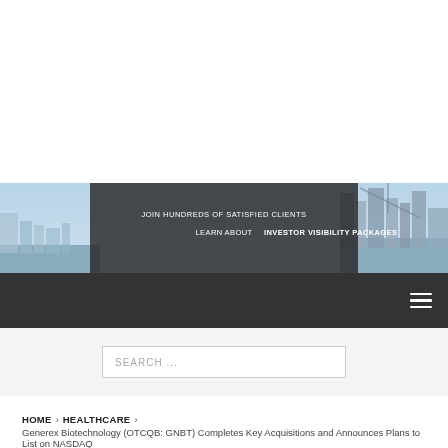[Figure (screenshot): Banner advertisement showing city skyline background with dark overlay text: 'JOIN HUNDREDS OF SATISFIED CLIENTS' and 'LEARN ABOUT INVESTOR VISIBILITY PACKAGES']
SEARCH ...
HOME > HEALTHCARE > Generex Biotechnology (OTCQB: GNBT) Completes Key Acquisitions and Announces Plans to List on NASDAQ